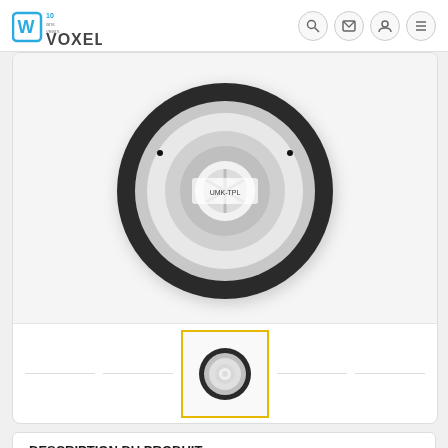[Figure (logo): Voxel Factory logo with '10 ans years' badge in blue]
[Figure (photo): Large 3D printer filament spool, black rim with white filament, photographed from the front]
[Figure (photo): Thumbnail of same filament spool, highlighted with yellow border (active selection)]
DESCRIPTION DU PRODUIT
Sku: UMK-TPL-285-BLK-750